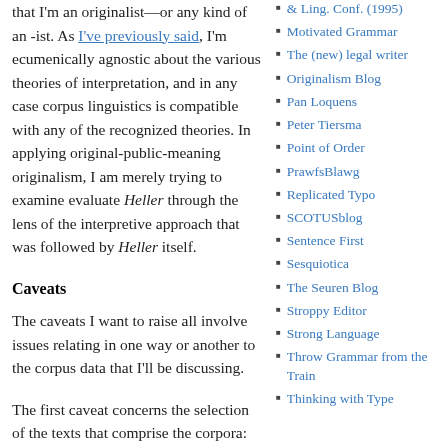that I'm an originalist—or any kind of an -ist. As I've previously said, I'm ecumenically agnostic about the various theories of interpretation, and in any case corpus linguistics is compatible with any of the recognized theories. In applying original-public-meaning originalism, I am merely trying to examine evaluate Heller through the lens of the interpretive approach that was followed by Heller itself.
Caveats
The caveats I want to raise all involve issues relating in one way or another to the corpus data that I'll be discussing.
The first caveat concerns the selection of the texts that comprise the corpora: to what extent
& Ling. Conf. (1995)
Motivated Grammar
The (new) legal writer
Originalism Blog
Pan Loquens
Peter Tiersma
Point of Order
PrawfsBlawg
Replicated Typo
SCOTUSblog
Sentence First
Sesquiotica
The Seuren Blog
Stroppy Editor
Strong Language
Throw Grammar from the Train
Thinking with Type